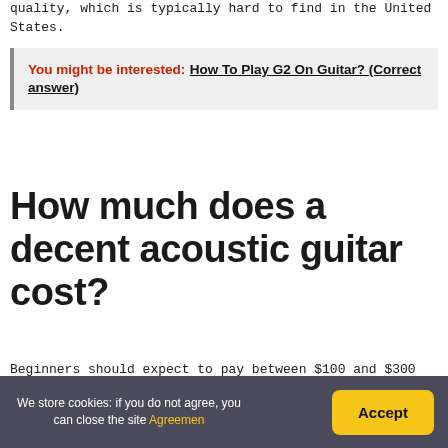quality, which is typically hard to find in the United States.
You might be interested: How To Play G2 On Guitar? (Correct answer)
How much does a decent acoustic guitar cost?
Beginners should expect to pay between $100 and $300 for their first set of lessons. It is conceivable to acquire something even more inexpensive, but it
We store cookies: if you do not agree, you can close the site Agreemen Accept